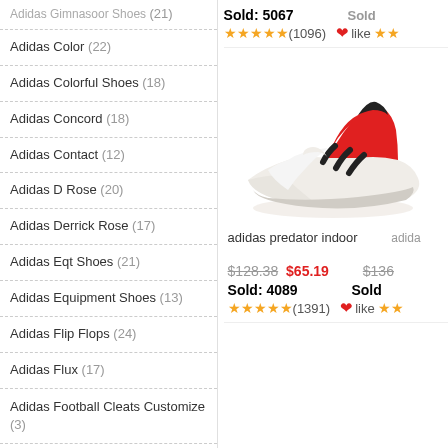Adidas Gimnasoor Shoes (21)
Adidas Color (22)
Adidas Colorful Shoes (18)
Adidas Concord (18)
Adidas Contact (12)
Adidas D Rose (20)
Adidas Derrick Rose (17)
Adidas Eqt Shoes (21)
Adidas Equipment Shoes (13)
Adidas Flip Flops (24)
Adidas Flux (17)
Adidas Football Cleats Customize (3)
Adidas Forum (19)
Adidas Forum Low (15)
Adidas Forum Mid (19)
Adidas Gazelle Pink (17)
Sold: 5067
★★★★★ (1096) ❤like ★★
[Figure (photo): Adidas Predator indoor shoe - white with black stripes and red heel collar]
adidas predator indoor
$128.38  $65.19
Sold: 4089
★★★★★ (1391) ❤like ★★